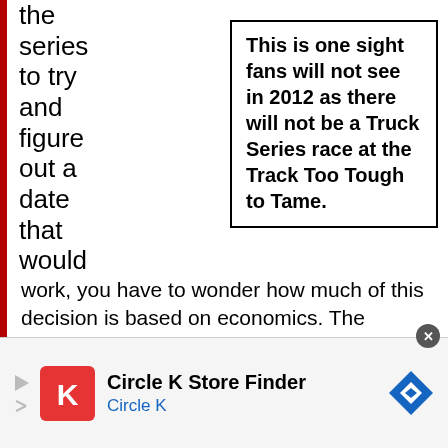the series to try and figure out a date that would
This is one sight fans will not see in 2012 as there will not be a Truck Series race at the Track Too Tough to Tame.
work, you have to wonder how much of this decision is based on economics. The attendance at Truck series races is far smaller than Cup or even Nationwide events, which makes it harder for the promoters and tracks to make a buck when
Circle K Store Finder Circle K